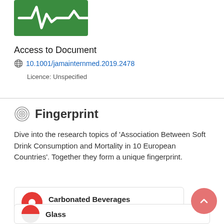[Figure (logo): Green SDG-style logo with white ECG/heartbeat icon on green background]
Access to Document
10.1001/jamainternmed.2019.2478
Licence: Unspecified
Fingerprint
Dive into the research topics of 'Association Between Soft Drink Consumption and Mortality in 10 European Countries'. Together they form a unique fingerprint.
Carbonated Beverages
Medicine & Life Sciences
Glass